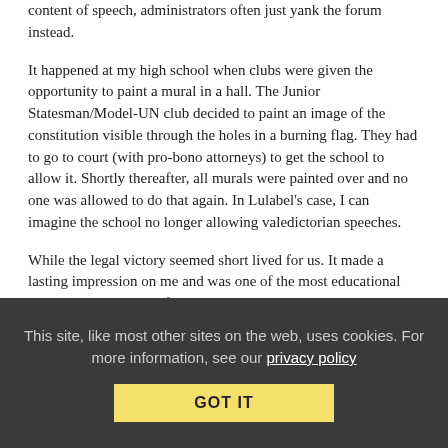content of speech, administrators often just yank the forum instead.
It happened at my high school when clubs were given the opportunity to paint a mural in a hall. The Junior Statesman/Model-UN club decided to paint an image of the constitution visible through the holes in a burning flag. They had to go to court (with pro-bono attorneys) to get the school to allow it. Shortly thereafter, all murals were painted over and no one was allowed to do that again. In Lulabel's case, I can imagine the school no longer allowing valedictorian speeches.
While the legal victory seemed short lived for us. It made a lasting impression on me and was one of the most educational experiences I got out of high school. I know it may sound weird, but to this day, no other image stirs patriotic feelings in me more than a burning flag and the freedom of speech it represents.
This site, like most other sites on the web, uses cookies. For more information, see our privacy policy  GOT IT